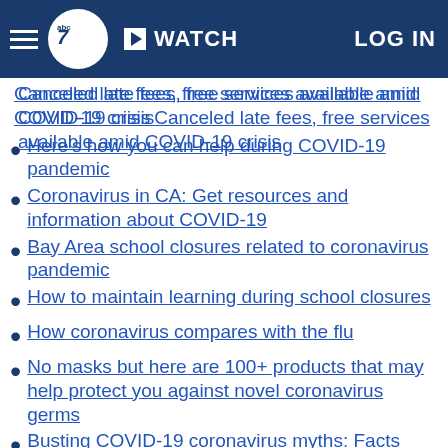ABC7 News — WATCH | LOG IN
Canceled late fees, free services available amid COVID-19 crisis
Here's how you can help during COVID-19 pandemic
Coronavirus in CA: Get resources and information about COVID-19
Bay Area school closures related to coronavirus pandemic
How to maintain learning during school closures
How coronavirus compares with the flu
No masks but here are 100+ products that may help protect you against novel coronavirus germs
Busting COVID-19 coronavirus myths: Facts from the Centers for Disease Control
Here's a look at some of history's worst pandemics